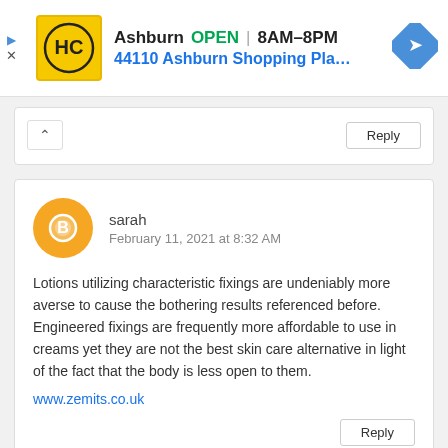[Figure (screenshot): Ad banner for HC business in Ashburn. Shows logo (yellow circle with HC), text 'Ashburn OPEN 8AM-8PM', address '44110 Ashburn Shopping Plaza 190, A...', and blue navigation diamond icon.]
[Figure (screenshot): Partial comment card showing collapse (^) button and Reply button.]
sarah
February 11, 2021 at 8:32 AM
Lotions utilizing characteristic fixings are undeniably more averse to cause the bothering results referenced before. Engineered fixings are frequently more affordable to use in creams yet they are not the best skin care alternative in light of the fact that the body is less open to them.
www.zemits.co.uk